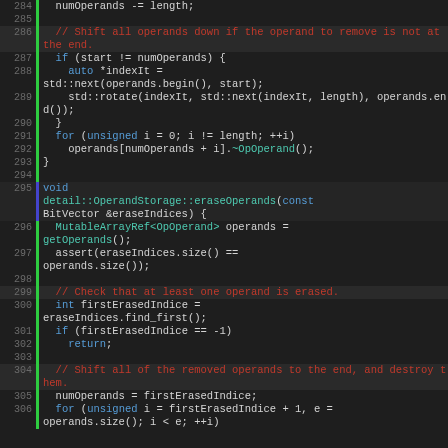[Figure (screenshot): Source code listing in a dark-themed code editor showing C++ code for operand removal functions, lines 284-306, with line numbers, green/blue vertical bars, and syntax highlighting.]